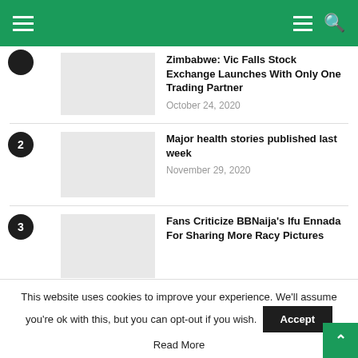Navigation bar with menu and search icons
Zimbabwe: Vic Falls Stock Exchange Launches With Only One Trading Partner — October 24, 2020
2 Major health stories published last week — November 29, 2020
3 Fans Criticize BBNaija's Ifu Ennada For Sharing More Racy Pictures
This website uses cookies to improve your experience. We'll assume you're ok with this, but you can opt-out if you wish.
Accept
Read More